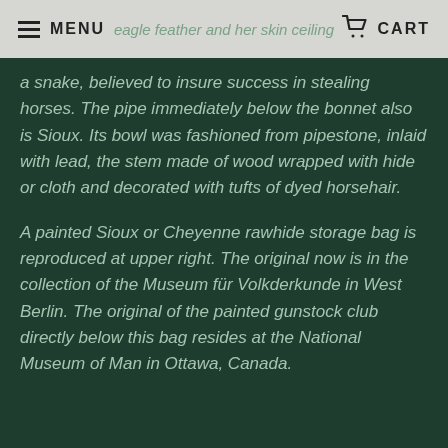MENU | eagle feather and her skin ceiling | CART
a snake, believed to insure success in stealing horses. The pipe immediately below the bonnet also is Sioux. Its bowl was fashioned from pipestone, inlaid with lead, the stem made of wood wrapped with hide or cloth and decorated with tufts of dyed horsehair.
A painted Sioux or Cheyenne rawhide storage bag is reproduced at upper right. The original now is in the collection of the Museum für Volkderkunde in West Berlin. The original of the painted gunstock club directly below this bag resides at the National Museum of Man in Ottawa, Canada.